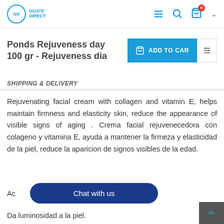GD GUATE DIRECT
Ponds Rejuveness day 100 gr - Rejuveness dia
SHIPPING & DELIVERY
Rejuvenating facial cream with collagen and vitamin E, helps maintain firmness and elasticity skin, reduce the appearance of visible signs of aging . Crema facial rejuvenecedora con colageno y vitamina E, ayuda a mantener la firmeza y elasticidad de la piel, reduce la aparicion de signos visibles de la edad.
Ac... as manchas.
Da luminosidad a la piel.